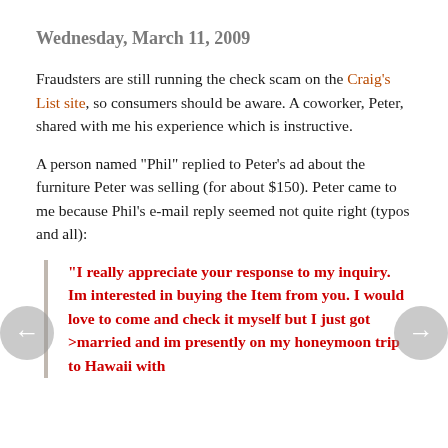Wednesday, March 11, 2009
Fraudsters are still running the check scam on the Craig's List site, so consumers should be aware. A coworker, Peter, shared with me his experience which is instructive.
A person named "Phil" replied to Peter's ad about the furniture Peter was selling (for about $150). Peter came to me because Phil's e-mail reply seemed not quite right (typos and all):
"I really appreciate your response to my inquiry. Im interested in buying the Item from you. I would love to come and check it myself but I just got >married and im presently on my honeymoon trip to Hawaii with